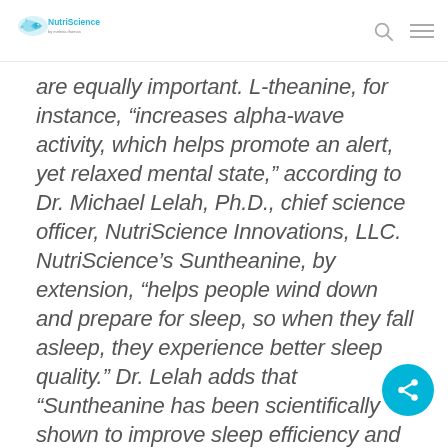NutriScience
are equally important. L-theanine, for instance, “increases alpha-wave activity, which helps promote an alert, yet relaxed mental state,” according to Dr. Michael Lelah, Ph.D., chief science officer, NutriScience Innovations, LLC. NutriScience’s Suntheanine, by extension, “helps people wind down and prepare for sleep, so when they fall asleep, they experience better sleep quality.” Dr. Lelah adds that “Suntheanine has been scientifically shown to improve sleep efficiency and recovery from fatigue, which are